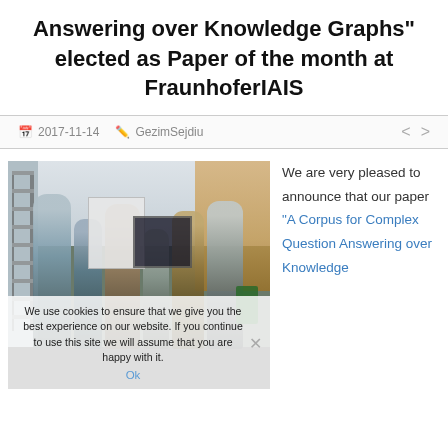Answering over Knowledge Graphs" elected as Paper of the month at FraunhoferIAIS
2017-11-14   GezimSejdiu
[Figure (photo): Group photo of several researchers in an office/atrium space, holding a certificate or paper. A cookie consent banner overlays the bottom of the image.]
We use cookies to ensure that we give you the best experience on our website. If you continue to use this site we will assume that you are happy with it.
Ok
We are very pleased to announce that our paper “A Corpus for Complex Question Answering over Knowledge